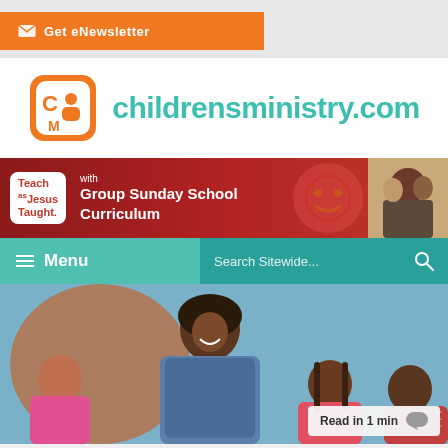Get eNewsletter
[Figure (logo): childrensministry.com logo with orange CM icon and teal text]
[Figure (infographic): Banner ad: Teach as Jesus Taught with Group Sunday School Curriculum on red background]
[Figure (screenshot): Navigation bar with Menu button and Search Sitewide search box]
[Figure (photo): Teacher smiling with children in a classroom activity]
Read in 1 min